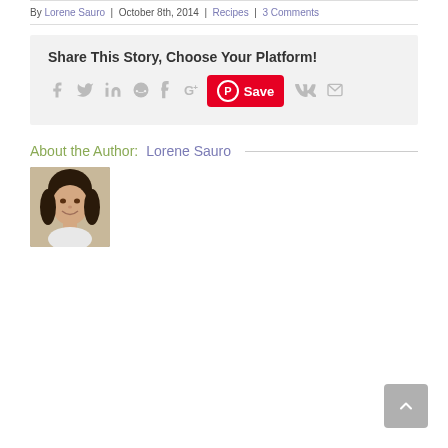By Lorene Sauro | October 8th, 2014 | Recipes | 3 Comments
Share This Story, Choose Your Platform!
[Figure (other): Social sharing icons: Facebook, Twitter, LinkedIn, Reddit, Tumblr, Google+, Pinterest Save button, VK, Email]
About the Author: Lorene Sauro
[Figure (photo): Author photo of Lorene Sauro, a woman with dark hair smiling]